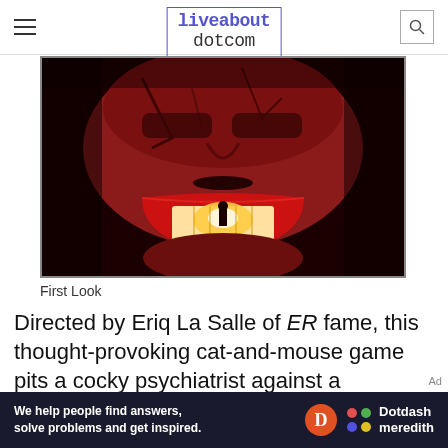liveabout dotcom
[Figure (photo): Close-up horror movie poster image showing a man's face in red tones with an open mouth revealing a silhouette figure inside, high-contrast dramatic lighting]
First Look
Directed by Eriq La Salle of ER fame, this thought-provoking cat-and-mouse game pits a cocky psychiatrist against a mysterious mental patient
[Figure (infographic): Ad banner: We help people find answers, solve problems and get inspired. Dotdash meredith logo]